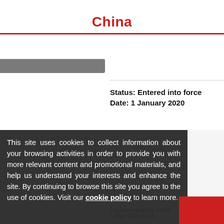China
Status: Entered into force
Date: 1 January 2020
Net Operating Losses: Film enterprises, including film distribution and film screening enterprises may carry forward the Net Operating Loss incurred to subsequent 6 years, instead of the standard...
This site uses cookies to collect information about your browsing activities in order to provide you with more relevant content and promotional materials, and help us understand your interests and enhance the site. By continuing to browse this site you agree to the use of cookies. Visit our cookie policy to learn more.
Status: Measure expired
Date: 31 December 2020
Payment deferral: From 1 May 2020 to 31...